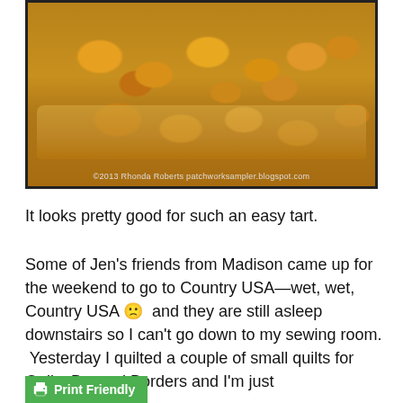[Figure (photo): A peach tart on parchment paper — pastry crust topped with caramelized peach slices in orange-amber glaze. Copyright watermark: ©2013 Rhonda Roberts patchworksampler.blogspot.com]
It looks pretty good for such an easy tart.
Some of Jen's friends from Madison came up for the weekend to go to Country USA—wet, wet, Country USA 🙁 and they are still asleep downstairs so I can't go down to my sewing room. Yesterday I quilted a couple of small quilts for Quilts Beyond Borders and I'm just
Privacy & Cookies: This site uses cookies. By continuing to use this website, you agree to their use.
To find out more, including how to control cookies, see here: Cookie Policy
Close and accept
Print Friendly